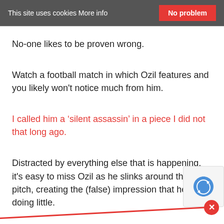This site uses cookies More info   No problem
No-one likes to be proven wrong.
Watch a football match in which Ozil features and you likely won't notice much from him.
I called him a ‘silent assassin’ in a piece I did not that long ago.
Distracted by everything else that is happening, it's easy to miss Ozil as he slinks around the pitch, creating the (false) impression that he's doing little.
But put a player-cam on and watch only him and you w... soon see a very different picture, one of a player...